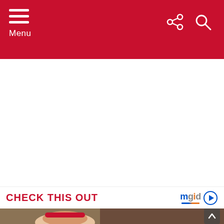Menu
CHECK THIS OUT
[Figure (photo): A person wearing a pink cap in front of a rocky/canyon background]